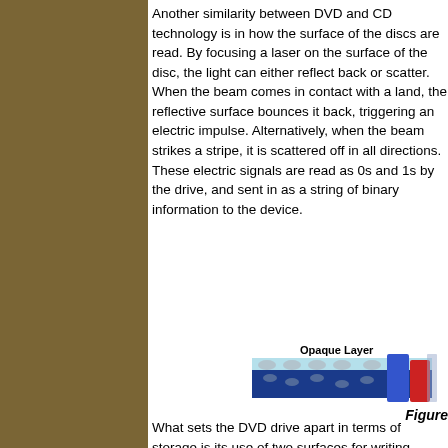Another similarity between DVD and CD technology is in how the surface of the discs are read. By focusing a laser on the surface of the disc, the light can either reflect back or scatter. When the beam comes in contact with a land, the reflective surface bounces it back, triggering an electric impulse. Alternatively, when the beam strikes a stripe, it is scattered off in all directions. These electric signals are read as 0s and 1s by the drive, and sent in as a string of binary information to the device.
[Figure (illustration): Diagram of DVD disc layers showing Opaque Layer label and colored vertical bars (red and blue) representing data layers on the disc surface]
Figure
What sets the DVD drive apart in terms of storage is its use of two surfaces for writing stripes and lands. As shown